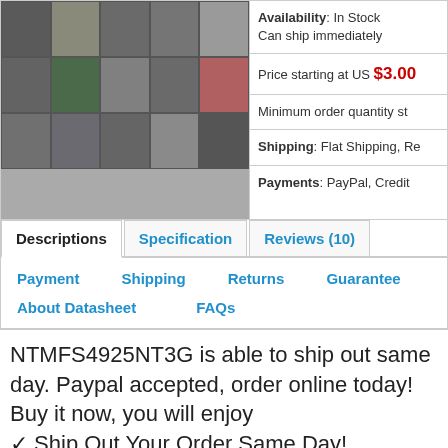[Figure (photo): Product image grid showing various electronic components in a mosaic of small photos]
Availability: In Stock
Can ship immediately
Price starting at US $3.00
Minimum order quantity st
Shipping: Flat Shipping, Re
Payments: PayPal, Credit
Descriptions	Specification	Reviews (10)
Payment	Shipping	Returns	Guarantee
About Datasheet	FAQs
NTMFS4925NT3G is able to ship out same day. Paypal accepted, order online today! Buy it now, you will enjoy
✓ Ship Out Your Order Same Day!
✓ Shipping Worldwide!